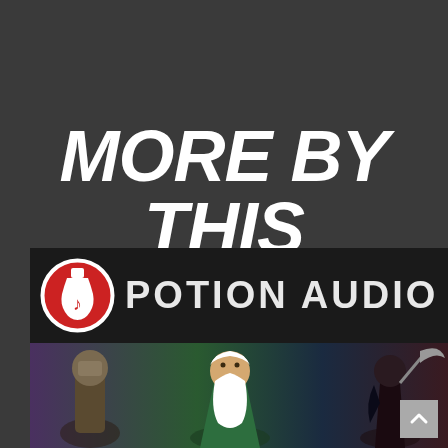MORE BY THIS AUTHOR...
[Figure (illustration): Potion Audio banner with red potion bottle logo icon on left and 'POTION AUDIO' text in white on dark background, with fantasy character illustrations below (wizard with white beard, dark figure with scythe)]